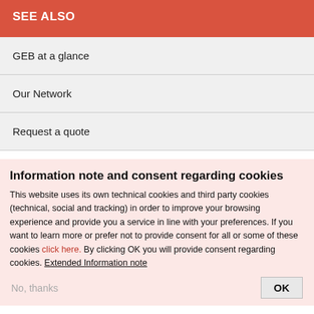SEE ALSO
GEB at a glance
Our Network
Request a quote
Information note and consent regarding cookies
This website uses its own technical cookies and third party cookies (technical, social and tracking) in order to improve your browsing experience and provide you a service in line with your preferences. If you want to learn more or prefer not to provide consent for all or some of these cookies click here. By clicking OK you will provide consent regarding cookies. Extended Information note
No, thanks
OK